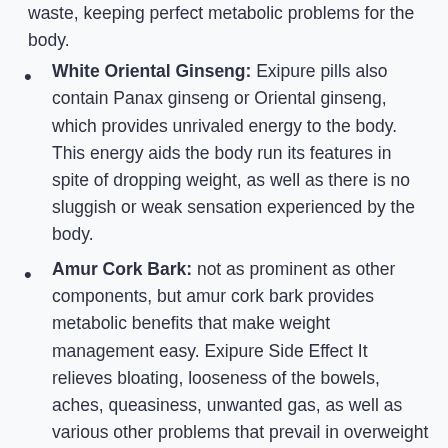waste, keeping perfect metabolic problems for the body.
White Oriental Ginseng: Exipure pills also contain Panax ginseng or Oriental ginseng, which provides unrivaled energy to the body. This energy aids the body run its features in spite of dropping weight, as well as there is no sluggish or weak sensation experienced by the body.
Amur Cork Bark: not as prominent as other components, but amur cork bark provides metabolic benefits that make weight management easy. Exipure Side Effect It relieves bloating, looseness of the bowels, aches, queasiness, unwanted gas, as well as various other problems that prevail in overweight individuals.